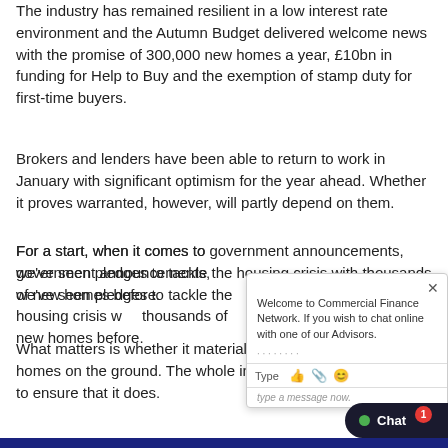The industry has remained resilient in a low interest rate environment and the Autumn Budget delivered welcome news with the promise of 300,000 new homes a year, £10bn in funding for Help to Buy and the exemption of stamp duty for first-time buyers.
Brokers and lenders have been able to return to work in January with significant optimism for the year ahead. Whether it proves warranted, however, will partly depend on them.
For a start, when it comes to government announcements, we've seen pledges to tackle the housing crisis with thousands of new homes before.
What matters is whether it materialises in the form of actual homes on the ground. The whole industry should be pushing to ensure that it does.
[Figure (screenshot): Chat widget overlay: 'Welcome to Commercial Finance Network. If you wish to chat online with one of our Advisors.' with input bar showing Type label, thumbs up, attachment, and emoji icons, and a 'type a message now.' placeholder. A dark Chat button with green dot and red badge showing '1' appears in bottom right.]